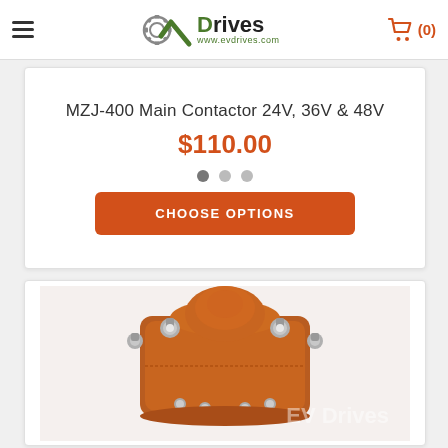EV Drives - www.evdrives.com
MZJ-400 Main Contactor 24V, 36V & 48V
$110.00
[Figure (photo): Close-up photo of a MZJ-400 main contactor, showing an orange/brown cylindrical body with metal bolt terminals on top and sides, with EV Drives watermark]
CHOOSE OPTIONS